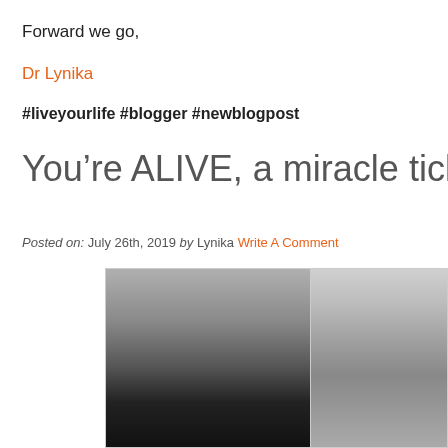Forward we go,
Dr Lynika
#liveyourlife #blogger #newblogpost
You’re ALIVE, a miracle ticket. Use it…
Posted on: July 26th, 2019 by Lynika Write A Comment
[Figure (photo): Black and white close-up photograph, split into two panels showing metallic or curved surfaces with blurred motion effect]